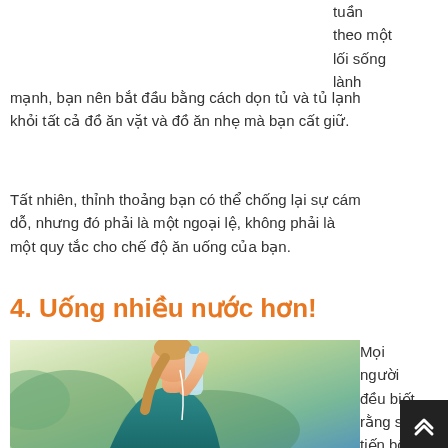tuần theo một lối sống lành mạnh, bạn nên bắt đầu bằng cách dọn tủ và tủ lạnh khỏi tất cả đồ ăn vặt và đồ ăn nhẹ mà bạn cất giữ.
Tất nhiên, thỉnh thoảng bạn có thể chống lại sự cám dỗ, nhưng đó phải là một ngoại lệ, không phải là một quy tắc cho chế độ ăn uống của bạn.
4. Uống nhiều nước hơn!
[Figure (photo): Woman drinking water from a bottle outdoors, wearing a teal top, with earphones, hair in ponytail, green blurred background]
Mọi người đều biết rằng sự tiến bộ của tuổi tác đối lại